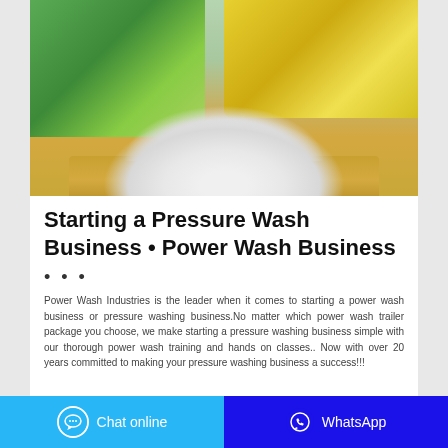[Figure (photo): A pile of white laundry/washing powder on a wooden tray, with green and yellow detergent packaging in the background.]
Starting a Pressure Wash Business • Power Wash Business
...
Power Wash Industries is the leader when it comes to starting a power wash business or pressure washing business.No matter which power wash trailer package you choose, we make starting a pressure washing business simple with our thorough power wash training and hands on classes.. Now with over 20 years committed to making your pressure washing business a success!!!
Chat online | WhatsApp